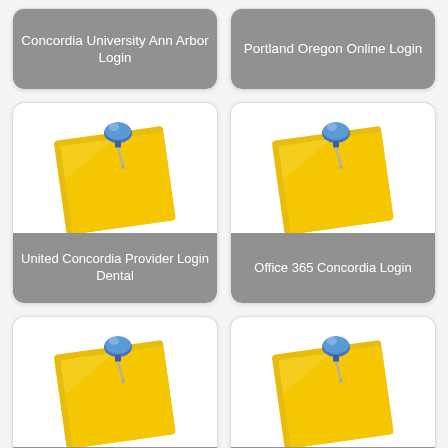[Figure (illustration): Card with sticky note and pushpin icon, label: Concordia University Ann Arbor Login]
[Figure (illustration): Card with sticky note and pushpin icon, label: Portland Oregon Online Login]
[Figure (illustration): Card with sticky note and pushpin icon, label: United Concordia Provider Login Dental]
[Figure (illustration): Card with sticky note and pushpin icon, label: Office 365 Concordia Login]
[Figure (illustration): Card with sticky note and pushpin icon, label: Concordia Chicago Login]
[Figure (illustration): Card with sticky note and pushpin icon, label: Concordia University Nebraska Login]
[Figure (illustration): Partial card with sticky note and pushpin icon (bottom of page, label not visible)]
[Figure (illustration): Partial card with sticky note and pushpin icon (bottom of page, label not visible)]